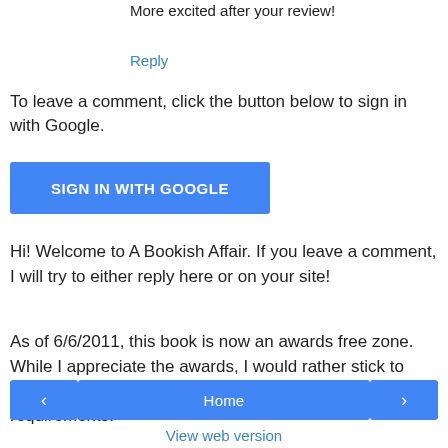More excited after your review!
Reply
To leave a comment, click the button below to sign in with Google.
SIGN IN WITH GOOGLE
Hi! Welcome to A Bookish Affair. If you leave a comment, I will try to either reply here or on your site!
As of 6/6/2011, this book is now an awards free zone. While I appreciate the awards, I would rather stick to reviewing more great books for you than trying to fill the requirements.
< Home > View web version